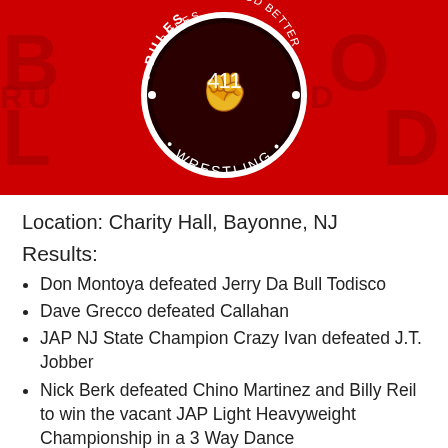[Figure (logo): JAP Wrestling logo banner on red background. Circular logo in center with 'RULES' and 'BLOOD BETTER' text around the ring, 'WRESTLING' on the bottom arc, stylized fist graphic in center. Red background with large faded letters spelling 'BLOOD' and 'RULES' in background.]
Location: Charity Hall, Bayonne, NJ
Results:
Don Montoya defeated Jerry Da Bull Todisco
Dave Grecco defeated Callahan
JAP NJ State Champion Crazy Ivan defeated J.T. Jobber
Nick Berk defeated Chino Martinez and Billy Reil to win the vacant JAP Light Heavyweight Championship in a 3 Way Dance
JAP Heavyweight Champion Homicide